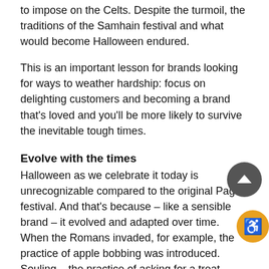to impose on the Celts. Despite the turmoil, the traditions of the Samhain festival and what would become Halloween endured.
This is an important lesson for brands looking for ways to weather hardship: focus on delighting customers and becoming a brand that's loved and you'll be more likely to survive the inevitable tough times.
Evolve with the times
Halloween as we celebrate it today is unrecognizable compared to the original Pagan festival. And that's because – like a sensible brand – it evolved and adapted over time. When the Romans invaded, for example, the practice of apple bobbing was introduced. Souling – the practice of asking for a treat – was introduced by Europeans in the medieval period. By embracing new practices and customs,